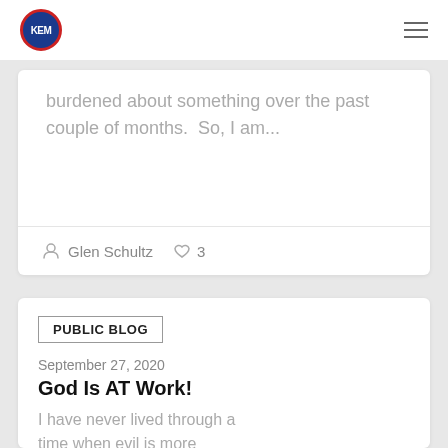KEM logo and navigation menu
burdened about something over the past couple of months.  So, I am...
Glen Schultz  ♡ 3
PUBLIC BLOG
September 27, 2020
God Is AT Work!
I have never lived through a time when evil is more